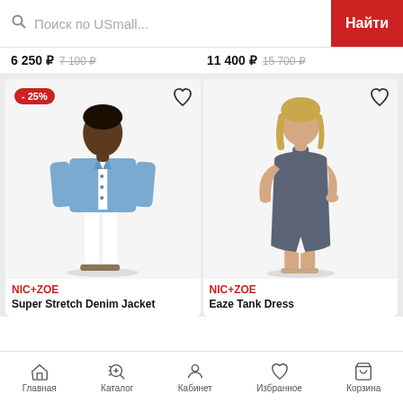Поиск по USmall...  Найти
6 250 ₽  7 100 ₽    11 400 ₽  15 700 ₽
[Figure (photo): Woman wearing a blue denim jacket over white top and white cropped pants with sandals. Red -25% badge in top left corner.]
NIC+ZOE
Super Stretch Denim Jacket
[Figure (photo): Woman wearing a dark grey sleeveless tank dress (midi length) with sandals.]
NIC+ZOE
Eaze Tank Dress
Главная  Каталог  Кабинет  Избранное  Корзина